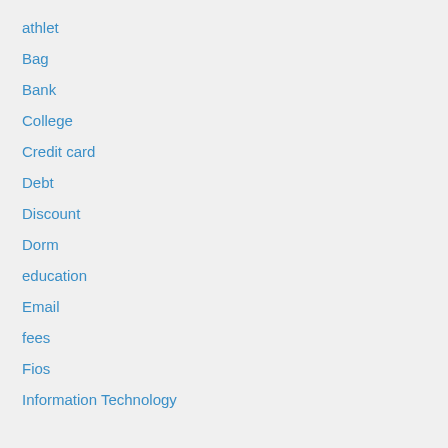athlet
Bag
Bank
College
Credit card
Debt
Discount
Dorm
education
Email
fees
Fios
Information Technology